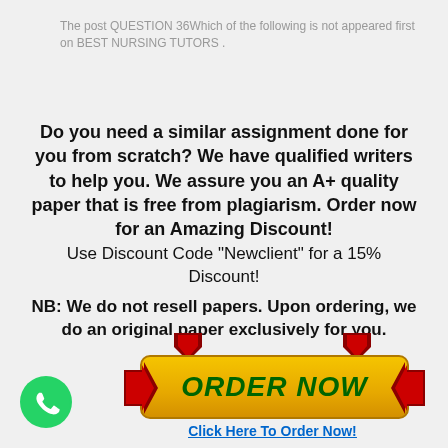The post QUESTION 36Which of the following is not appeared first on BEST NURSING TUTORS .
Do you need a similar assignment done for you from scratch? We have qualified writers to help you. We assure you an A+ quality paper that is free from plagiarism. Order now for an Amazing Discount!
Use Discount Code "Newclient" for a 15% Discount!
NB: We do not resell papers. Upon ordering, we do an original paper exclusively for you.
[Figure (infographic): Orange ORDER NOW button with dark red downward arrows on left and right sides and above, styled as a CTA button]
Click Here To Order Now!
[Figure (logo): WhatsApp green circle icon with phone handset]